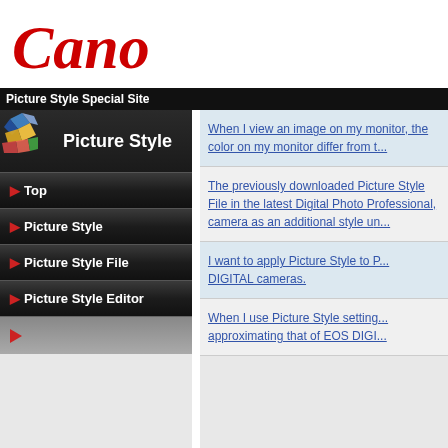[Figure (logo): Canon logo in red italic serif font]
Picture Style Special Site
[Figure (illustration): Picture Style banner with colorful diamond/gem icons on dark background]
▶Top
▶Picture Style
▶Picture Style File
▶Picture Style Editor
When I view an image on my monitor, the color on my monitor differ from t...
The previously downloaded Picture Style File in the latest Digital Photo Professional, camera as an additional style un...
I want to apply Picture Style to P... DIGITAL cameras.
When I use Picture Style setting... approximating that of EOS DIGI...